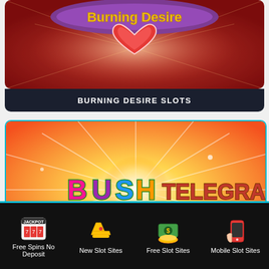[Figure (screenshot): Burning Desire Slots game thumbnail - red background with gold logo and heart]
BURNING DESIRE SLOTS
[Figure (screenshot): Bush Telegraph slot game thumbnail - orange starburst background with colorful BUSH TELEGRAPH logo text]
[Figure (infographic): Footer navigation bar with four icons: slot machine (Free Spins No Deposit), crown (New Slot Sites), money stack (Free Slot Sites), mobile phone (Mobile Slot Sites)]